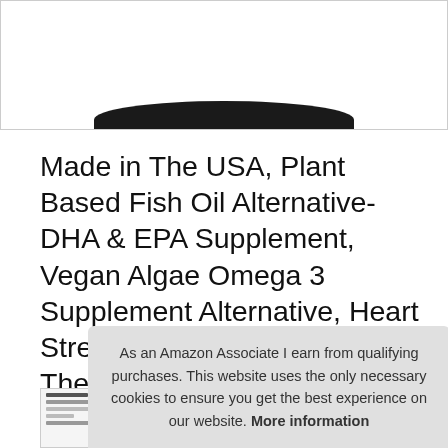[Figure (photo): Product image showing top portion of a dark-capped supplement bottle against a white background]
Made in The USA, Plant Based Fish Oil Alternative- DHA & EPA Supplement, Vegan Algae Omega 3 Supplement Alternative, Heart Stress Relief, 120 Capsules, The Very Best Vegan Omega 3 Supplement
#ad
As an Amazon Associate I earn from qualifying purchases. This website uses the only necessary cookies to ensure you get the best experience on our website. More information